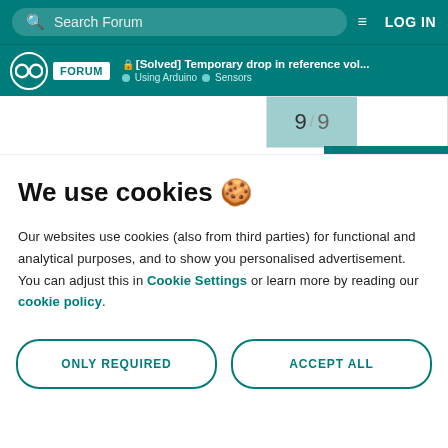Search Forum | LOG IN
[Solved] Temporary drop in reference vol... | Using Arduino | Sensors | 9 / 9
We use cookies 🍪
Our websites use cookies (also from third parties) for functional and analytical purposes, and to show you personalised advertisement. You can adjust this in Cookie Settings or learn more by reading our cookie policy.
ONLY REQUIRED
ACCEPT ALL